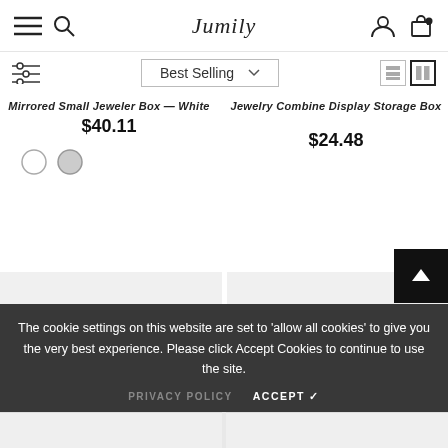Jumily — navigation bar with hamburger menu, search, account, and cart icons
Best Selling — sort dropdown with view toggle icons
Mirrored Small Jeweler Box — White
$40.11
Jewelry Combine Display Storage Box
$24.48
[Figure (screenshot): Product thumbnail placeholder cards]
The cookie settings on this website are set to 'allow all cookies' to give you the very best experience. Please click Accept Cookies to continue to use the site.
PRIVACY POLICY    ACCEPT ✓